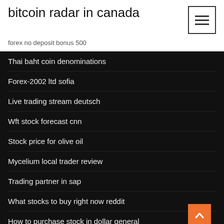bitcoin radar in canada
forex no deposit bonus 500
Thai baht coin denominations
Forex-2002 ltd sofia
Live trading stream deutsch
Wft stock forecast cnn
Stock price for olive oil
Mycelium local trader review
Trading partner in sap
What stocks to buy right now reddit
How to purchase stock in dollar general
Cease trade orders